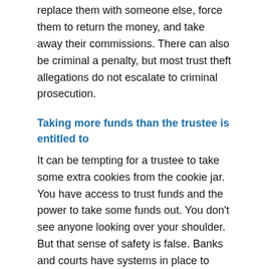replace them with someone else, force them to return the money, and take away their commissions. There can also be criminal a penalty, but most trust theft allegations do not escalate to criminal prosecution.
Taking more funds than the trustee is entitled to
It can be tempting for a trustee to take some extra cookies from the cookie jar. You have access to trust funds and the power to take some funds out. You don't see anyone looking over your shoulder. But that sense of safety is false. Banks and courts have systems in place to detect fraud. Beneficiaries can get suspicious and hire a trust attorney or report the suspect to the police and hire a trust attorney to get the inheritance that they are entitled to.